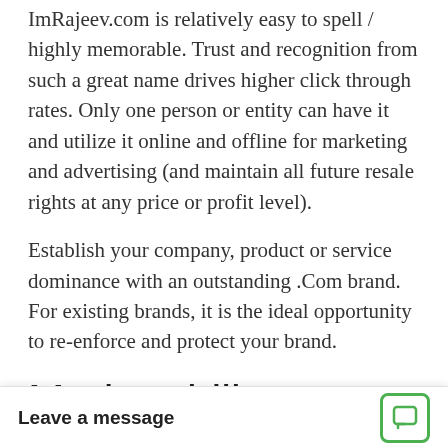ImRajeev.com is relatively easy to spell / highly memorable. Trust and recognition from such a great name drives higher click through rates. Only one person or entity can have it and utilize it online and offline for marketing and advertising (and maintain all future resale rights at any price or profit level).
Establish your company, product or service dominance with an outstanding .Com brand. For existing brands, it is the ideal opportunity to re-enforce and protect your brand.
Marketability
This is an exciting long term branding opportunity
Historically, exact match keywords have been rated higher in relevancy for search engine ranking. A super-premium .Com DomainMarket.com
Leave a message